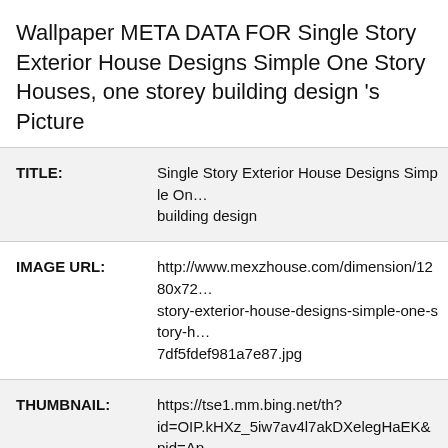Wallpaper META DATA FOR Single Story Exterior House Designs Simple One Story Houses, one storey building design 's Picture
| Field | Value |
| --- | --- |
| TITLE: | Single Story Exterior House Designs Simple One story building design |
| IMAGE URL: | http://www.mexzhouse.com/dimension/1280x72 story-exterior-house-designs-simple-one-story-h 7df5fdef981a7e87.jpg |
| THUMBNAIL: | https://tse1.mm.bing.net/th? id=OIP.kHXz_5iw7av4l7akDXelegHaEK&pid=Ap |
| IMAGE SIZE: | 698.6KB Bs |
| IMAGE | 1280 |